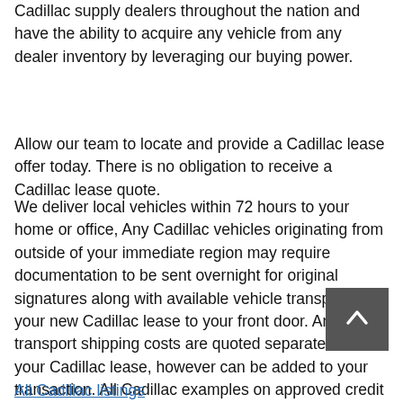Cadillac supply dealers throughout the nation and have the ability to acquire any vehicle from any dealer inventory by leveraging our buying power.
Allow our team to locate and provide a Cadillac lease offer today. There is no obligation to receive a Cadillac lease quote.
We deliver local vehicles within 72 hours to your home or office, Any Cadillac vehicles originating from outside of your immediate region may require documentation to be sent overnight for original signatures along with available vehicle transport of your new Cadillac lease to your front door. Any transport shipping costs are quoted separate from your Cadillac lease, however can be added to your transaction. All Cadillac examples on approved credit and subject to change at anytime and for general calculation purposes only. Please consult with your DSR specialist.
All Cadillac listings